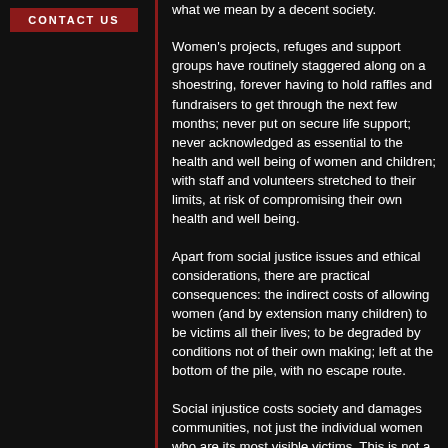CONTACT US
what we mean by a decent society.
Women's projects, refuges and support groups have routinely staggered along on a shoestring, forever having to hold raffles and fundraisers to get through the next few months; never put on secure life support; never acknowledged as essential to the health and well being of women and children; with staff and volunteers stretched to their limits, at risk of compromising their own health and well being.
Apart from social justice issues and ethical considerations, there are practical consequences: the indirect costs of allowing women (and by extension many children) to be victims all their lives; to be degraded by conditions not of their own making; left at the bottom of the pile, with no escape route.
Social injustice costs society and damages communities, not just the individual women who are its most visible victims. This is not a money saver, but an ideologically driven determination to reduce women's